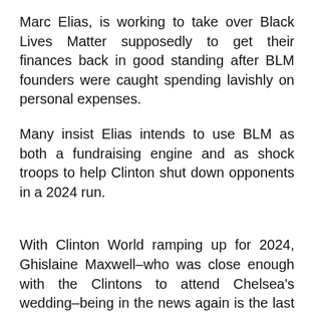Marc Elias, is working to take over Black Lives Matter supposedly to get their finances back in good standing after BLM founders were caught spending lavishly on personal expenses.
Many insist Elias intends to use BLM as both a fundraising engine and as shock troops to help Clinton shut down opponents in a 2024 run.
With Clinton World ramping up for 2024, Ghislaine Maxwell–who was close enough with the Clintons to attend Chelsea's wedding–being in the news again is the last thing Hillary Clinton wants.
Stay tuned to Unmuzzled News for any updates to this ongoing story.